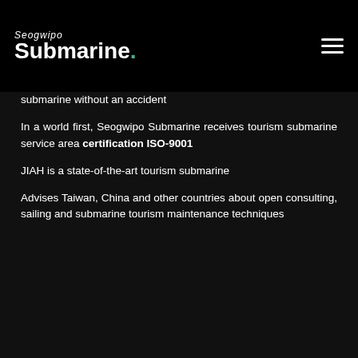Seogwipo Submarine
submarine without an accident
In a world first, Seogwipo Submarine receives tourism submarine service area certification ISO-9001
JIAH is a state-of-the-art tourism submarine
Advises Taiwan, China and other countries about open consulting, sailing and submarine tourism maintenance techniques